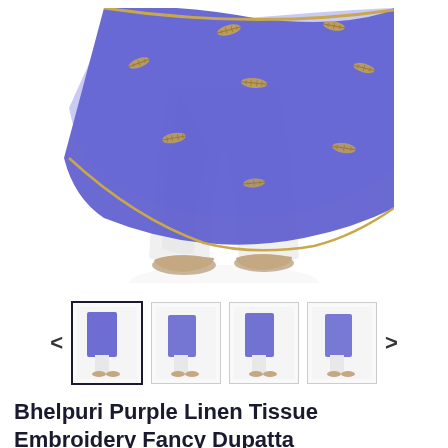[Figure (photo): Main product photo showing lower half of a woman wearing white palazzo pants and beige flats, draped with a blue/purple linen tissue dupatta featuring gold embroidery leaf motifs and a light border]
[Figure (photo): Thumbnail carousel with four product images of a woman wearing the blue/purple dupatta in various poses, with left and right navigation arrows. First thumbnail is selected/highlighted with a dark border.]
Bhelpuri Purple Linen Tissue Embroidery Fancy Dupatta